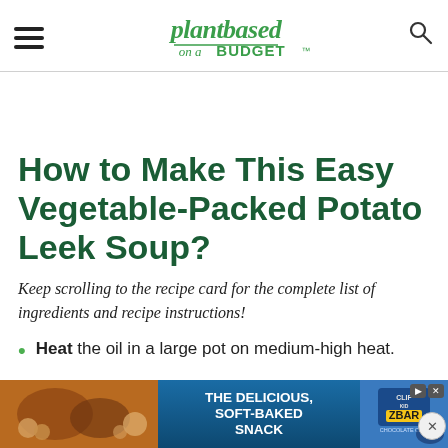plantbased on a BUDGET
How to Make This Easy Vegetable-Packed Potato Leek Soup?
Keep scrolling to the recipe card for the complete list of ingredients and recipe instructions!
Heat the oil in a large pot on medium-high heat.
Add ... llery,
[Figure (screenshot): Advertisement banner: THE DELICIOUS, SOFT-BAKED SNACK featuring ZBAR product image with food photos]